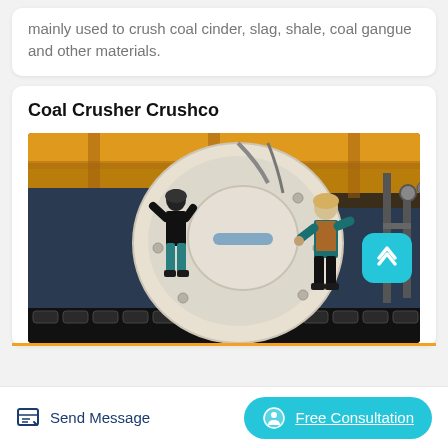mainly used to crush coal cinder, slag, shale, coal gangue and other materials.
Coal Crusher Crushco
[Figure (photo): Two workers in a factory setting working on a large industrial coal crusher machine. The machine has a large white/cream cylindrical component. Workers are wearing safety gear. Background shows yellow crane beams.]
Send Message
Free Consultation